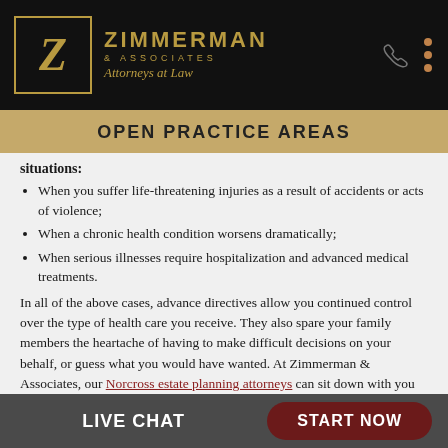Zimmerman & Associates Attorneys at Law
OPEN PRACTICE AREAS
situations:
When you suffer life-threatening injuries as a result of accidents or acts of violence;
When a chronic health condition worsens dramatically;
When serious illnesses require hospitalization and advanced medical treatments.
In all of the above cases, advance directives allow you continued control over the type of health care you receive. They also spare your family members the heartache of having to make difficult decisions on your behalf, or guess what you would have wanted. At Zimmerman & Associates, our Norcross estate planning attorneys can sit down with you and thoroughly review all the options available.
LIVE CHAT   START NOW